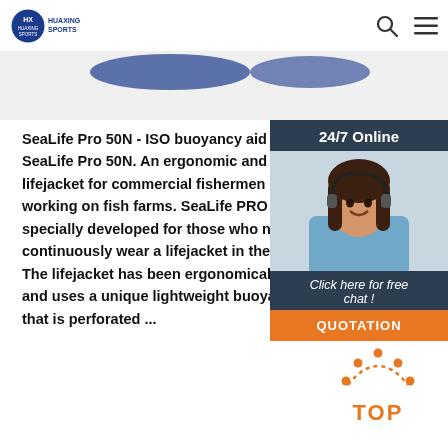HUAXING SPORTS
[Figure (photo): Product image strip showing blue lifejacket partially visible at top of page]
SeaLife Pro 50N - ISO buoyancy aid fi SeaLife Pro 50N. An ergonomic and pr lifejacket for commercial fishermen an working on fish farms. SeaLife PRO 50 specially developed for those who nee continuously wear a lifejacket in their The lifejacket has been ergonomically and uses a unique lightweight buoyan that is perforated ...
[Figure (photo): 24/7 Online chat widget with smiling woman wearing headset, dark navy background, orange QUOTATION button]
Get Price
[Figure (illustration): Orange and red TOP icon with dots forming an arch above the word TOP]